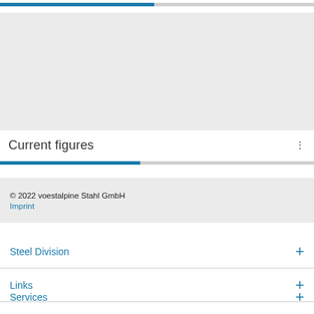[Figure (other): Gray placeholder card widget area with 'Current figures' label at the bottom and a three-dot menu icon]
Current figures
© 2022 voestalpine Stahl GmbH
Imprint
Steel Division
Links
Services